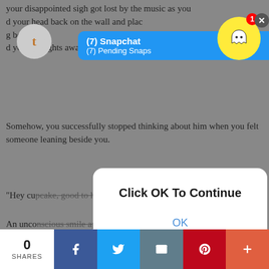your disappointed sigh got lost by the music as you d your head back on the wall and plac g betw nd d your thoughts away.
[Figure (screenshot): Snapchat notification banner showing '(7) Snapchat' and '(7) Pending Snaps' in blue, with Tumblr icon on left and Snapchat ghost icon on right with red badge showing '1' and close X button]
Somehow, you successfully stopped thinking about him when you felt someone leaning beside you.
"Hey cupcake, good to have?"
[Figure (screenshot): Modal dialog box with white rounded rectangle showing 'Click OK To Continue' text in bold and 'OK' button in blue below, overlaid on story text]
An unconscious smile appeared on your lips when you heard her voice, finding her closer than you thought when your eyes opened. The flame from the light glowing on her icy iris as she smirked. You replied with a knowing look, leaning until the cigarette's tip touched the fire, eyes never leaving hers as you inhaled a bit of smoke.
0 SHARES | Facebook | Twitter | Email | Pinterest | More